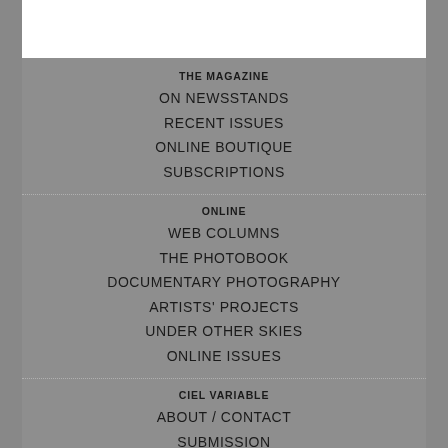[Figure (other): White rectangle at top of page]
THE MAGAZINE
ON NEWSSTANDS
RECENT ISSUES
ONLINE BOUTIQUE
SUBSCRIPTIONS
ONLINE
WEB COLUMNS
THE PHOTOBOOK
DOCUMENTARY PHOTOGRAPHY
ARTISTS' PROJECTS
UNDER OTHER SKIES
ONLINE ISSUES
CIEL VARIABLE
ABOUT / CONTACT
SUBMISSION